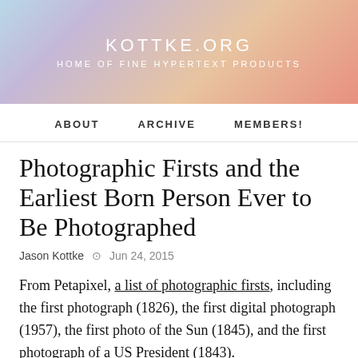KOTTKE.ORG
HOME OF FINE HYPERTEXT PRODUCTS
ABOUT   ARCHIVE   MEMBERS!
Photographic Firsts and the Earliest Born Person Ever to Be Photographed
Jason Kottke  ⊙  Jun 24, 2015
From Petapixel, a list of photographic firsts, including the first photograph (1826), the first digital photograph (1957), the first photo of the Sun (1845), and the first photograph of a US President (1843).
John Quincy Adams, the sixth President of the United States, was the first president to have his